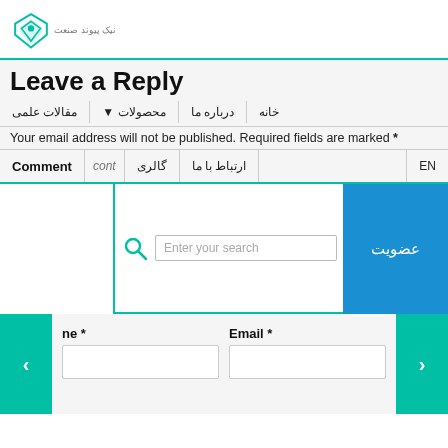[Figure (logo): Teal diamond/shield logo with Persian text below]
Leave a Reply
خانه | درباره ما | محصولات ▾ | مقالات علمی
Your email address will not be published. Required fields are marked *
Comment | گالری | ارتباط با ما | EN
[Figure (screenshot): Search bar with teal magnifier icon and placeholder 'Enter your search', blue membership button with Persian text 'عضویت']
ne * | Email *
Form input fields for Name and Email